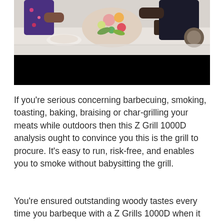[Figure (photo): Photo of people at an outdoor dining table with food and flowers, partially obscured by a black redaction bar at the bottom.]
If you're serious concerning barbecuing, smoking, toasting, baking, braising or char-grilling your meats while outdoors then this Z Grill 1000D analysis ought to convince you this is the grill to procure. It's easy to run, risk-free, and enables you to smoke without babysitting the grill.
You're ensured outstanding woody tastes every time you barbeque with a Z Grills 1000D when it